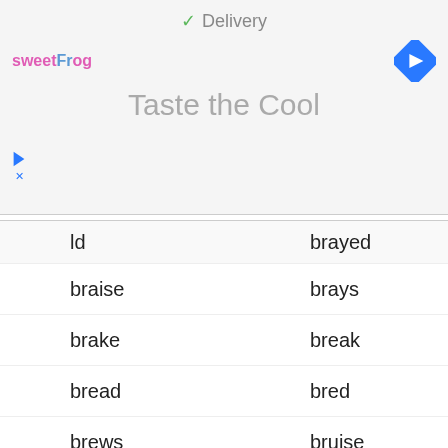✓ Delivery
[Figure (logo): sweetFrog logo and navigation arrow icon]
Taste the Cool
ld | brayed
braise | brays
brake | break
bread | bred
brews | bruise
bridal | bridle
broach | brooch
bur | burr
but | butt